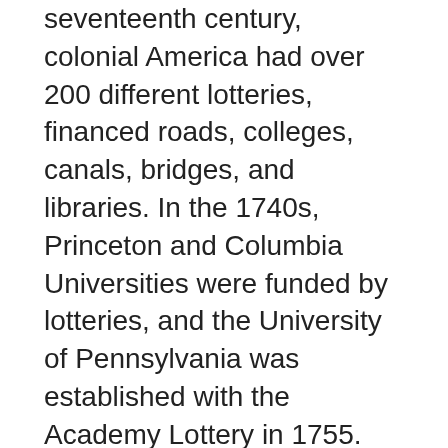seventeenth century, colonial America had over 200 different lotteries, financed roads, colleges, canals, bridges, and libraries. In the 1740s, Princeton and Columbia Universities were funded by lotteries, and the University of Pennsylvania was established with the Academy Lottery in 1755. The lottery was a popular source of revenue for many colonies during the French and Indian Wars. In 1758, the Commonwealth of Massachusetts used it to raise money for its “Expedition Against Canada.”
While Internet-based lotteries may look like online casino games, they are generally afforded different legal protections. State-sponsored lotteries are separate from private online casinos, which operate under a strict set of state prescriptions. This difference could spark a turf war between